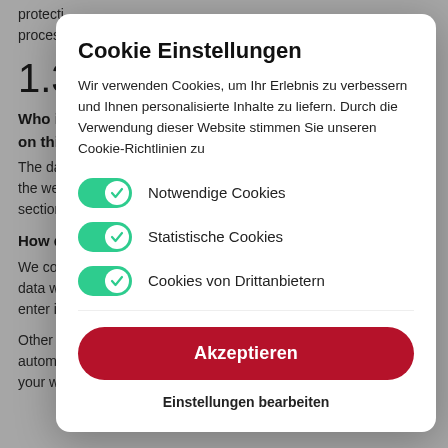protecti
process
1.3 D
Who is
on this
The dat
the wel
section
How do
We coll
data wi
enter in
Other c
automatically or after you consent to its recording during
your website visit. This data comprises primarily technical
Cookie Einstellungen
Wir verwenden Cookies, um Ihr Erlebnis zu verbessern und Ihnen personalisierte Inhalte zu liefern. Durch die Verwendung dieser Website stimmen Sie unseren Cookie-Richtlinien zu
Notwendige Cookies
Statistische Cookies
Cookies von Drittanbietern
Akzeptieren
Einstellungen bearbeiten